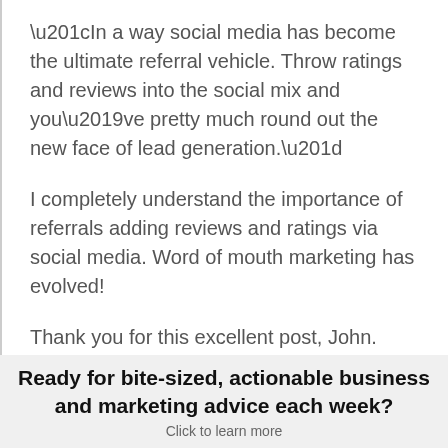“In a way social media has become the ultimate referral vehicle. Throw ratings and reviews into the social mix and you’ve pretty much round out the new face of lead generation.”
I completely understand the importance of referrals adding reviews and ratings via social media. Word of mouth marketing has evolved!
Thank you for this excellent post, John.
Ready for bite-sized, actionable business and marketing advice each week? Click to learn more